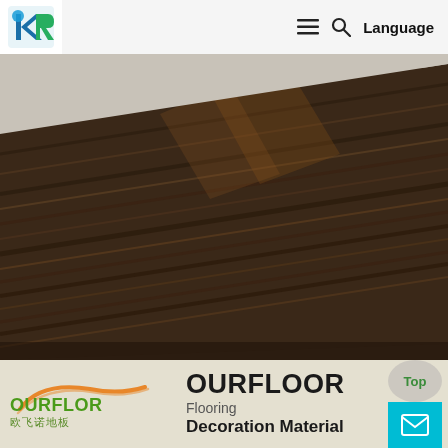Logo | hamburger menu | search | Language
[Figure (photo): Close-up photo of dark brown wood grain flooring plank with visible wood texture lines, dark walnut color, angled view on light grey background]
[Figure (logo): OURFLOR brand logo with orange swoosh, green text OURFLOR, Chinese characters 欧飞诺地板]
OURFLOOR
Flooring
Decoration Material
Top
email/contact icon